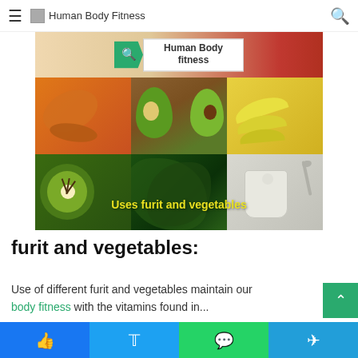Human Body Fitness
[Figure (photo): Collage of fruits and vegetables including dried fruit, avocado, banana, kiwi, leafy greens, and yogurt with 'Uses furit and vegetables' overlay text and 'Human Body fitness' search box overlay]
furit and vegetables:
Use of different furit and vegetables maintain our body fitness with the vitamins found in...
Facebook | Twitter | WhatsApp | Telegram social share buttons